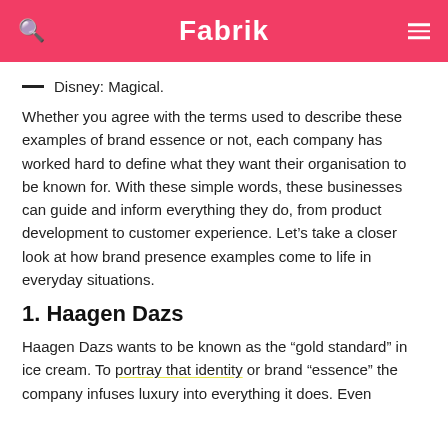Fabrik
Disney: Magical.
Whether you agree with the terms used to describe these examples of brand essence or not, each company has worked hard to define what they want their organisation to be known for. With these simple words, these businesses can guide and inform everything they do, from product development to customer experience. Let’s take a closer look at how brand presence examples come to life in everyday situations.
1. Haagen Dazs
Haagen Dazs wants to be known as the “gold standard” in ice cream. To portray that identity or brand “essence” the company infuses luxury into everything it does. Even